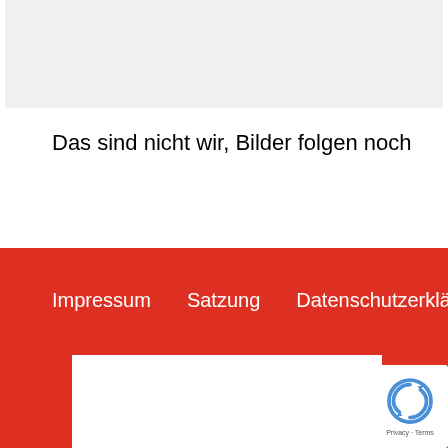[Figure (photo): Gray placeholder image area at the top of the page]
Das sind nicht wir, Bilder folgen noch
Impressum | Satzung | Datenschutzerklärung
[Figure (other): White content box in red footer area with reCAPTCHA badge showing Privacy - Terms]